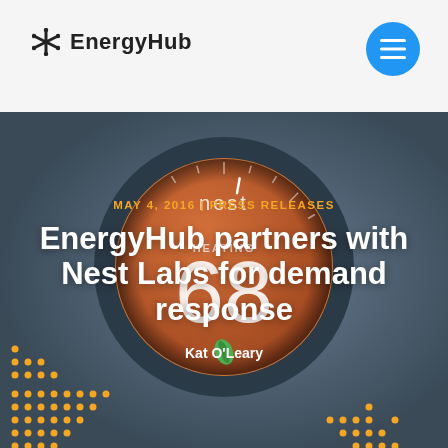EnergyHub
[Figure (illustration): A Nest smart thermostat showing the number 68 and the word HEATING on a dark blue background, with decorative yellow dot patterns in the lower left and lower right corners.]
MAY 4, 2016 | PRESS RELEASES
EnergyHub partners with Nest Labs for demand response
Kat O'Leary